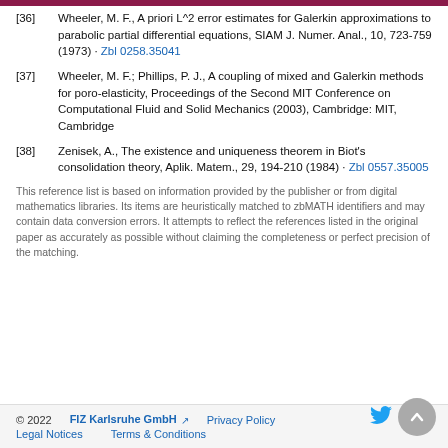[36] Wheeler, M. F., A priori L^2 error estimates for Galerkin approximations to parabolic partial differential equations, SIAM J. Numer. Anal., 10, 723-759 (1973) · Zbl 0258.35041
[37] Wheeler, M. F.; Phillips, P. J., A coupling of mixed and Galerkin methods for poro-elasticity, Proceedings of the Second MIT Conference on Computational Fluid and Solid Mechanics (2003), Cambridge: MIT, Cambridge
[38] Zenisek, A., The existence and uniqueness theorem in Biot's consolidation theory, Aplik. Matem., 29, 194-210 (1984) · Zbl 0557.35005
This reference list is based on information provided by the publisher or from digital mathematics libraries. Its items are heuristically matched to zbMATH identifiers and may contain data conversion errors. It attempts to reflect the references listed in the original paper as accurately as possible without claiming the completeness or perfect precision of the matching.
© 2022   FIZ Karlsruhe GmbH   Privacy Policy   Legal Notices   Terms & Conditions